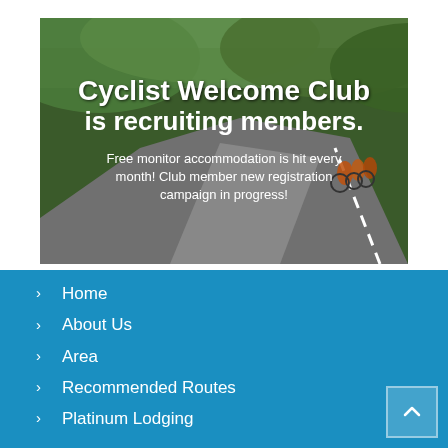[Figure (photo): Banner image of cyclists riding on a winding road through green hills, with white text overlay: 'Cyclist Welcome Club is recruiting members. Free monitor accommodation is hit every month! Club member new registration campaign in progress!']
Home
About Us
Area
Recommended Routes
Platinum Lodging